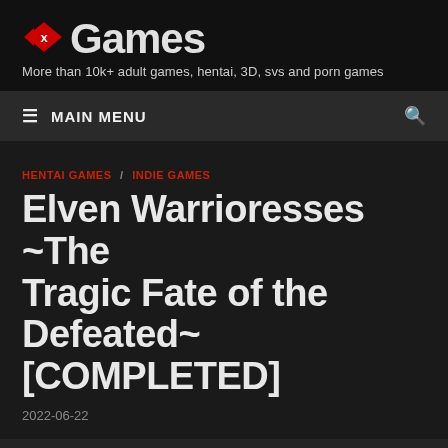xGames — More than 10k+ adult games, hentai, 3D, svs and porn games
≡ MAIN MENU
HENTAI GAMES / INDIE GAMES
Elven Warrioresses ~The Tragic Fate of the Defeated~ [COMPLETED]
2022-06-22
| Version: | unknown |
| --- | --- |